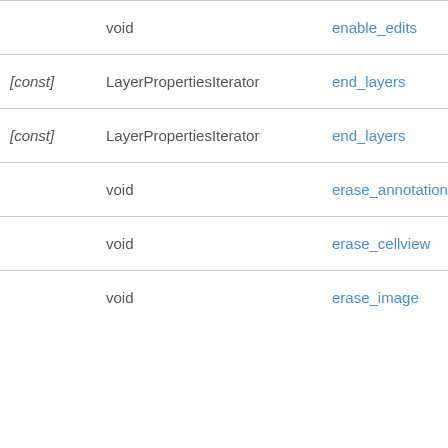| qualifier | type | name |
| --- | --- | --- |
|  | void | enable_edits |
| [const] | LayerPropertiesIterator | end_layers |
| [const] | LayerPropertiesIterator | end_layers |
|  | void | erase_annotation |
|  | void | erase_cellview |
|  | void | erase_image |